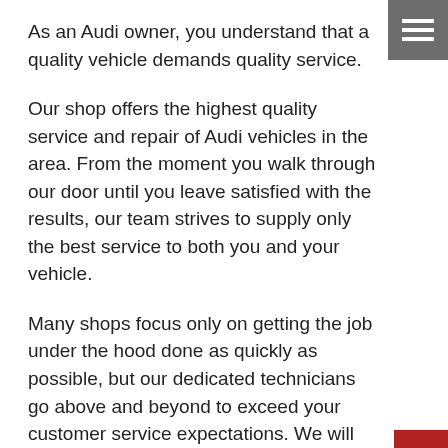As an Audi owner, you understand that a quality vehicle demands quality service.
[Figure (other): Hamburger menu icon button, grey background with three white horizontal bars]
Our shop offers the highest quality service and repair of Audi vehicles in the area. From the moment you walk through our door until you leave satisfied with the results, our team strives to supply only the best service to both you and your vehicle.
[Figure (other): Red vertical sidebar button with text 'SHOP FOR TIRES' rotated vertically and a tire icon below]
Many shops focus only on getting the job under the hood done as quickly as possible, but our dedicated technicians go above and beyond to exceed your customer service expectations. We will happily answer any questions and also offer courtesy pick up and drop off service to local customers to reduce make the service and repair process as convenient as possible.
Whether you need routine maintenance or repairs for major damage, our expert team of certified technicians provide top-notch service for any Audi model.